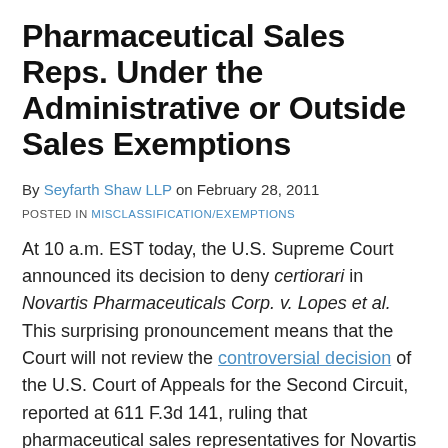Pharmaceutical Sales Reps. Under the Administrative or Outside Sales Exemptions
By Seyfarth Shaw LLP on February 28, 2011
POSTED IN MISCLASSIFICATION/EXEMPTIONS
At 10 a.m. EST today, the U.S. Supreme Court announced its decision to deny certiorari in Novartis Pharmaceuticals Corp. v. Lopes et al. This surprising pronouncement means that the Court will not review the controversial decision of the U.S. Court of Appeals for the Second Circuit, reported at 611 F.3d 141, ruling that pharmaceutical sales representatives for Novartis Pharmaceuticals Corporation…